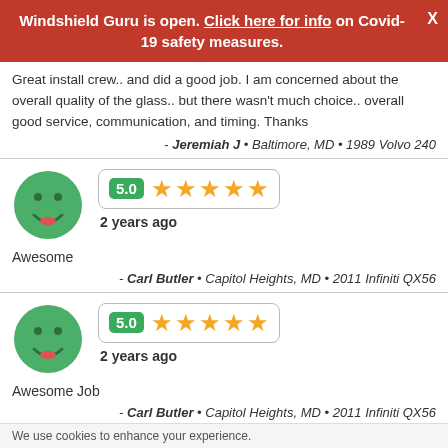Windshield Guru is open. Click here for info on Covid-19 safety measures.
Great install crew.. and did a good job. I am concerned about the overall quality of the glass.. but there wasn't much choice.. overall good service, communication, and timing. Thanks
- Jeremiah J • Baltimore, MD • 1989 Volvo 240
[Figure (infographic): Green smiley face avatar with rating 5.0 and 5 gold stars, labeled 2 years ago]
Awesome
- Carl Butler • Capitol Heights, MD • 2011 Infiniti QX56
[Figure (infographic): Green smiley face avatar with rating 5.0 and 5 gold stars, labeled 2 years ago]
Awesome Job
- Carl Butler • Capitol Heights, MD • 2011 Infiniti QX56
We use cookies to enhance your experience.